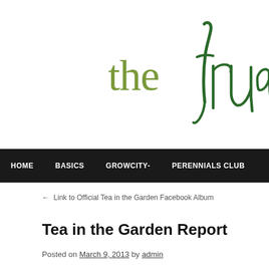[Figure (logo): Partial logo showing 'thefru' in mixed green serif and script/handwritten fonts, cropped at right edge]
HOME   BASICS   GROWCITY-   PERENNIALS CLUB
← Link to Official Tea in the Garden Facebook Album
Tea in the Garden Report
Posted on March 9, 2013 by admin